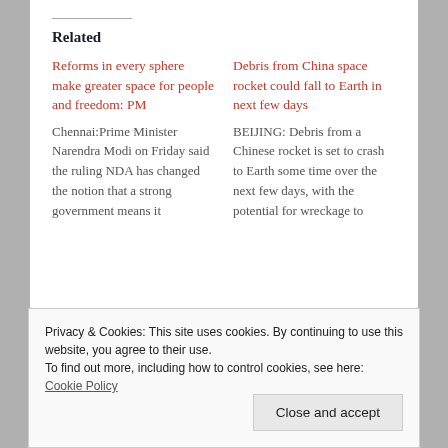Related
Reforms in every sphere make greater space for people and freedom: PM
Chennai:Prime Minister Narendra Modi on Friday said the ruling NDA has changed the notion that a strong government means it
Debris from China space rocket could fall to Earth in next few days
BEIJING: Debris from a Chinese rocket is set to crash to Earth some time over the next few days, with the potential for wreckage to
Privacy & Cookies: This site uses cookies. By continuing to use this website, you agree to their use.
To find out more, including how to control cookies, see here: Cookie Policy
Close and accept